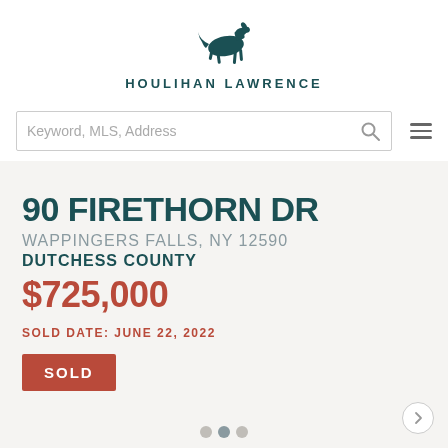[Figure (logo): Houlihan Lawrence logo — trotting horse silhouette in dark teal above brand name text HOULIHAN LAWRENCE]
Keyword, MLS, Address
90 FIRETHORN DR
WAPPINGERS FALLS, NY 12590
DUTCHESS COUNTY
$725,000
SOLD DATE: JUNE 22, 2022
SOLD